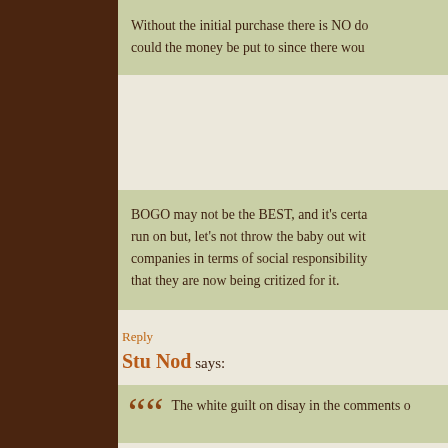Without the initial purchase there is NO do could the money be put to since there wou
BOGO may not be the BEST, and it's certa run on but, let's not throw the baby out wit companies in terms of social responsibility that they are now being critized for it.
Reply
Stu Nod says:
The white guilt on disay in the comments o
Reply
Alan Sindler says:
Full disclosure: I am not in any way affiliate because my pastor was criticizing them in marketers who want people to feel good a